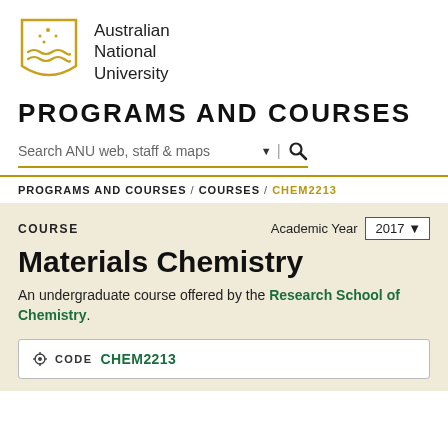[Figure (logo): Australian National University shield logo in gold/amber color]
Australian National University
PROGRAMS AND COURSES
Search ANU web, staff & maps
PROGRAMS AND COURSES / COURSES / CHEM2213
COURSE
Academic Year 2017
Materials Chemistry
An undergraduate course offered by the Research School of Chemistry.
CODE CHEM2213